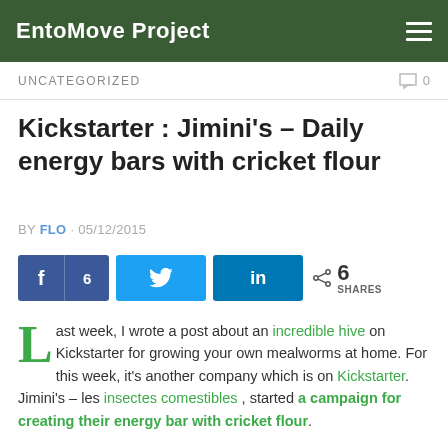EntoMove Project
UNCATEGORIZED   0
Kickstarter : Jimini's – Daily energy bars with cricket flour
BY FLO · 05/12/2015
[Figure (other): Social share buttons: Facebook (6), Twitter, LinkedIn, and share count of 6 SHARES]
Last week, I wrote a post about an incredible hive on Kickstarter for growing your own mealworms at home. For this week, it's another company which is on Kickstarter. Jimini's – les insectes comestibles , started a campaign for creating their energy bar with cricket flour.